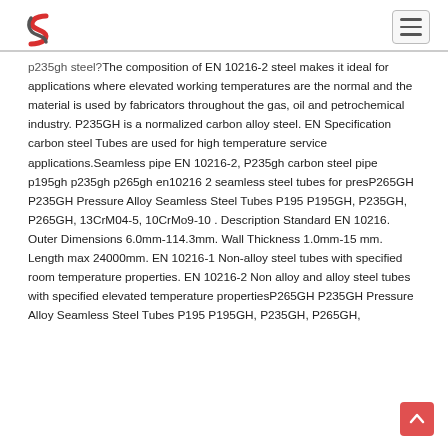[Logo and navigation menu]
p235gh steel?The composition of EN 10216-2 steel makes it ideal for applications where elevated working temperatures are the normal and the material is used by fabricators throughout the gas, oil and petrochemical industry. P235GH is a normalized carbon alloy steel. EN Specification carbon steel Tubes are used for high temperature service applications.Seamless pipe EN 10216-2, P235gh carbon steel pipe p195gh p235gh p265gh en10216 2 seamless steel tubes for presP265GH P235GH Pressure Alloy Seamless Steel Tubes P195 P195GH, P235GH, P265GH, 13CrM04-5, 10CrMo9-10 . Description Standard EN 10216. Outer Dimensions 6.0mm-114.3mm. Wall Thickness 1.0mm-15 mm. Length max 24000mm. EN 10216-1 Non-alloy steel tubes with specified room temperature properties. EN 10216-2 Non alloy and alloy steel tubes with specified elevated temperature propertiesP265GH P235GH Pressure Alloy Seamless Steel Tubes P195 P195GH, P235GH, P265GH,